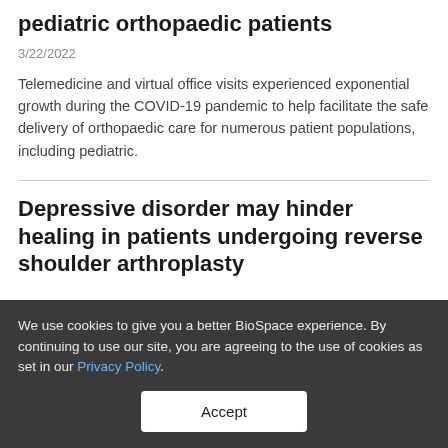pediatric orthopaedic patients
3/22/2022
Telemedicine and virtual office visits experienced exponential growth during the COVID-19 pandemic to help facilitate the safe delivery of orthopaedic care for numerous patient populations, including pediatric.
Depressive disorder may hinder healing in patients undergoing reverse shoulder arthroplasty
We use cookies to give you a better BioSpace experience. By continuing to use our site, you are agreeing to the use of cookies as set in our Privacy Policy.